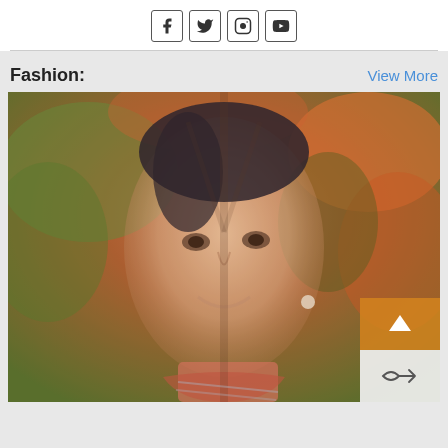[Figure (other): Social media icons: Facebook, Twitter, Instagram, YouTube in square bordered boxes]
Fashion:
View More
[Figure (photo): Double-exposure artistic portrait of a woman smiling with dark hair pulled back, wearing pearl earring and pink ruffled collar, overlaid with autumn foliage in orange and green tones]